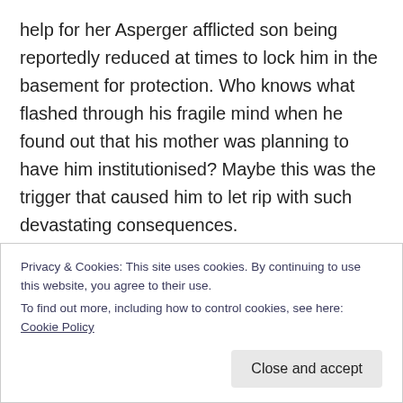help for her Asperger afflicted son being reportedly reduced at times to lock him in the basement for protection. Who knows what flashed through his fragile mind when he found out that his mother was planning to have him institutionised? Maybe this was the trigger that caused him to let rip with such devastating consequences.
Oh, never mind, you liberal twits who want the 2nd Amendment nullified for your own selfish reason in that the law was working perfectly in this instance, for the killer was refused permission to purchase a fire arm by the
Privacy & Cookies: This site uses cookies. By continuing to use this website, you agree to their use.
To find out more, including how to control cookies, see here: Cookie Policy
Close and accept